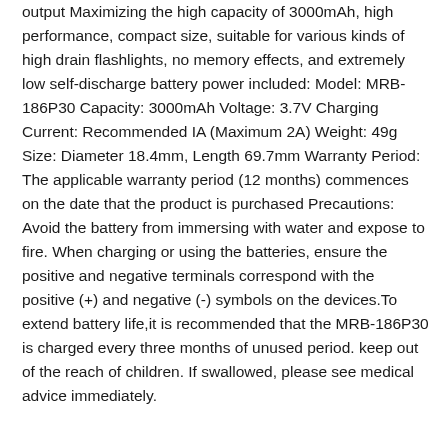output Maximizing the high capacity of 3000mAh, high performance, compact size, suitable for various kinds of high drain flashlights, no memory effects, and extremely low self-discharge battery power included: Model: MRB-186P30 Capacity: 3000mAh Voltage: 3.7V Charging Current: Recommended IA (Maximum 2A) Weight: 49g Size: Diameter 18.4mm, Length 69.7mm Warranty Period: The applicable warranty period (12 months) commences on the date that the product is purchased Precautions: Avoid the battery from immersing with water and expose to fire. When charging or using the batteries, ensure the positive and negative terminals correspond with the positive (+) and negative (-) symbols on the devices.To extend battery life,it is recommended that the MRB-186P30 is charged every three months of unused period. keep out of the reach of children. If swallowed, please see medical advice immediately.